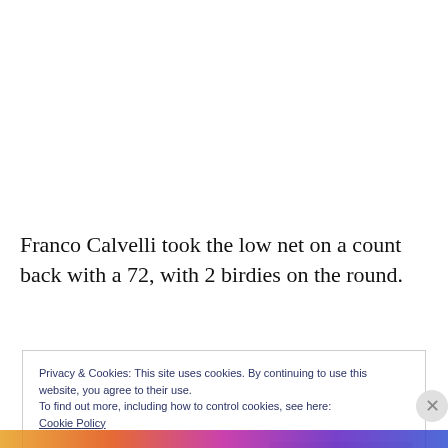Franco Calvelli took the low net on a count back with a 72, with 2 birdies on the round.
Privacy & Cookies: This site uses cookies. By continuing to use this website, you agree to their use.
To find out more, including how to control cookies, see here:
Cookie Policy
Close and accept